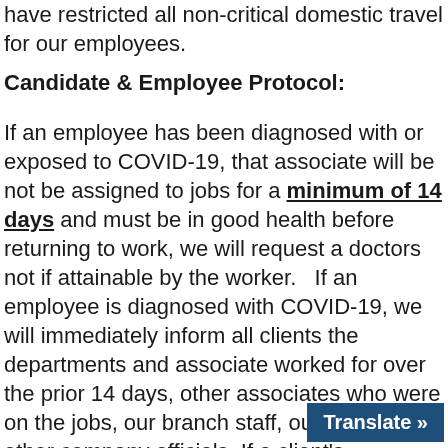have restricted all non-critical domestic travel for our employees.
Candidate & Employee Protocol:
If an employee has been diagnosed with or exposed to COVID-19, that associate will be not be assigned to jobs for a minimum of 14 days and must be in good health before returning to work, we will request a doctors not if attainable by the worker.   If an employee is diagnosed with COVID-19, we will immediately inform all clients the departments and associate worked for over the prior 14 days, other associates who were on the jobs, our branch staff, our leaders and other company officials. If a client's employee is diagnosed with COVID-19, we will immediately notify associates who were assigned to the facility where the employee worked.
Translate »